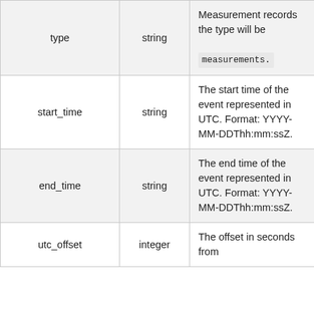| Field | Type | Description |
| --- | --- | --- |
| type | string | Measurement records the type will be measurements. |
| start_time | string | The start time of the event represented in UTC. Format: YYYY-MM-DDThh:mm:ssZ. |
| end_time | string | The end time of the event represented in UTC. Format: YYYY-MM-DDThh:mm:ssZ. |
| utc_offset | integer | The offset in seconds from |